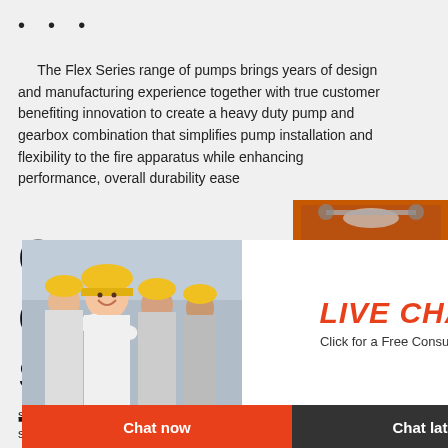...
The Flex Series range of pumps brings years of design and manufacturing experience together with true customer benefiting innovation to create a heavy duty pump and gearbox combination that simplifies pump installation and flexibility to the fire apparatus while enhancing performance, overall durability ease
Global water delivery solutions for the world. We ...
[Figure (photo): Live chat popup overlay with woman and workers in yellow hard hats, red 'LIVE CHAT' title, 'Click for a Free Consultation', Chat now / Chat later buttons]
[Figure (infographic): Right sidebar with orange background, mining/crushing equipment images, Enjoy 3% discount, Click to Chat, Enquiry, limingjlmofen@sina.com]
Jul 14, 2021 · We develop water solutions for the world. We set the standard in terms of innovation, efficiency, reliability and sustainability. We are a pump